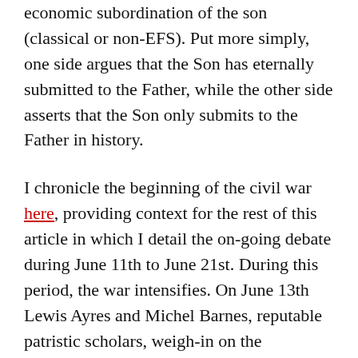economic subordination of the son (classical or non-EFS). Put more simply, one side argues that the Son has eternally submitted to the Father, while the other side asserts that the Son only submits to the Father in history.
I chronicle the beginning of the civil war here, providing context for the rest of this article in which I detail the on-going debate during June 11th to June 21st. During this period, the war intensifies. On June 13th Lewis Ayres and Michel Barnes, reputable patristic scholars, weigh-in on the Trinitarian debate, assaulting the position of Ware and Grudem (EFS). The patristic hammer weakens the EFS